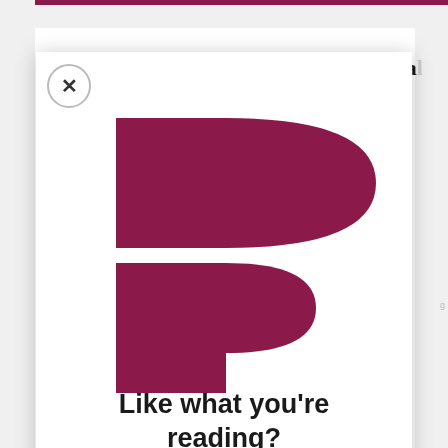[Figure (screenshot): Screenshot of a web page with a modal popup overlay. The background shows a news article page with a dark maroon top bar and partial title text 'e "New" New: Challenging Political'. The modal is a white popup with a close (×) button in the top-left, a large maroon 'P' logo (Politico style) composed of geometric shapes, and the text 'Like what you're reading?' at the bottom.]
Like what you're reading?